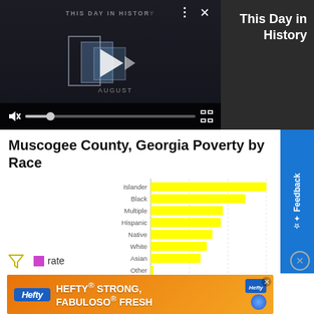[Figure (screenshot): Video player showing 'This Day in History' with play controls, mute button, progress bar, and fullscreen icon on dark background]
This Day in History
Muscogee County, Georgia Poverty by Race
[Figure (bar-chart): Muscogee County, Georgia Poverty by Race]
[Figure (other): Legend showing magenta/purple square with label 'rate']
[Figure (other): Advertisement banner: Hefty STRONG, Fabuloso FRESH]